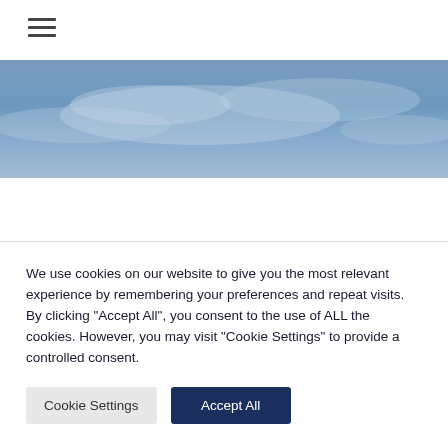[Figure (other): Hamburger menu icon (three horizontal lines) in top-left corner]
[Figure (photo): Banner photo showing a blue sky with clouds, used as a hero/header image]
We use cookies on our website to give you the most relevant experience by remembering your preferences and repeat visits. By clicking "Accept All", you consent to the use of ALL the cookies. However, you may visit "Cookie Settings" to provide a controlled consent.
Cookie Settings
Accept All